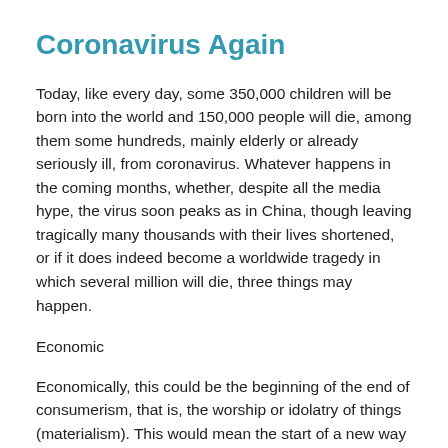Coronavirus Again
Today, like every day, some 350,000 children will be born into the world and 150,000 people will die, among them some hundreds, mainly elderly or already seriously ill, from coronavirus. Whatever happens in the coming months, whether, despite all the media hype, the virus soon peaks as in China, though leaving tragically many thousands with their lives shortened, or if it does indeed become a worldwide tragedy in which several million will die, three things may happen.
Economic
Economically, this could be the beginning of the end of consumerism, that is, the worship or idolatry of things (materialism). This would mean the start of a new way of life of self-limitation, as the Russian writer Solzhenitsyn, horrified by...